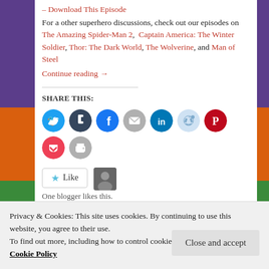– Download This Episode
For a other superhero discussions, check out our episodes on The Amazing Spider-Man 2, Captain America: The Winter Soldier, Thor: The Dark World, The Wolverine, and Man of Steel
Continue reading →
SHARE THIS:
[Figure (other): Social sharing icons: Twitter, Tumblr, Facebook, Email, LinkedIn, Reddit, Pinterest, Pocket, Print]
[Figure (other): Like button with star icon and blogger avatar thumbnail]
One blogger likes this.
Privacy & Cookies: This site uses cookies. By continuing to use this website, you agree to their use.
To find out more, including how to control cookies, see here:
Cookie Policy